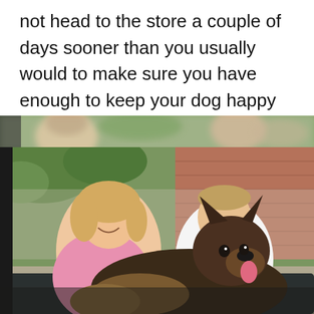not head to the store a couple of days sooner than you usually would to make sure you have enough to keep your dog happy while in quarantine?
[Figure (photo): Two people (a smiling woman in a pink top and a man in a white t-shirt) sitting outdoors on patio furniture, cuddling a large German Shepherd dog. Background shows a brick wall and greenery. The top portion of the image has blurred/pixelated faces from a second overlapping photo strip.]